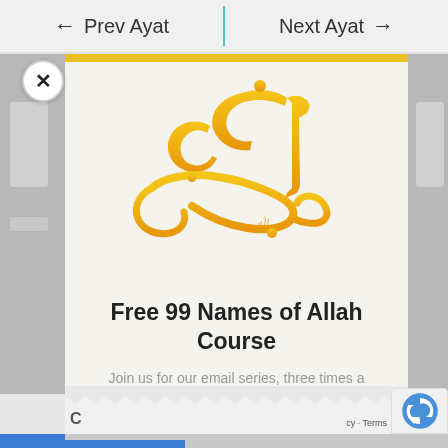← Prev Ayat   Next Ayat →
[Figure (illustration): Arabic calligraphy in golden/yellow color spelling 'Al-Rahman' (الرحمن), one of the 99 names of Allah, on a cream/beige background]
Free 99 Names of Allah Course
Join us for our email series, three times a week.